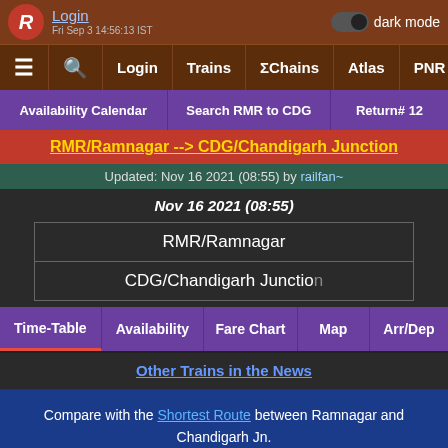Login | dark mode | Fri Sep 3 14:56:13 IST
≡ 🔍 Login | Trains | ΣChains | Atlas | PNR
Availability Calendar | Search RMR to CDG | Return# 12...
RMR/Ramnagar --> CDG/Chandigarh Junction
Updated: Nov 16 2021 (08:55) by railfan~
Nov 16 2021 (08:55)
RMR/Ramnagar
CDG/Chandigarh Junction
Time-Table | Availability | Fare Chart | Map | Arr/Dep
Other Trains in the News
Compare with the Shortest Route between Ramnagar and Chandigarh Jn.
Travel Time: 7h 45m   9 halts
Distance: 396 km   Avg Speed: 51 km/hr
Scroll to